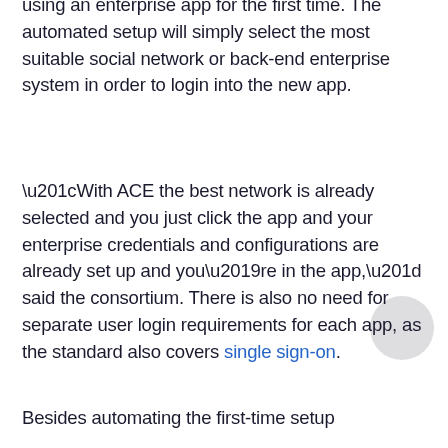using an enterprise app for the first time. The automated setup will simply select the most suitable social network or back-end enterprise system in order to login into the new app.
“With ACE the best network is already selected and you just click the app and your enterprise credentials and configurations are already set up and you’re in the app,” said the consortium. There is also no need for separate user login requirements for each app, as the standard also covers single sign-on.
Besides automating the first-time setup